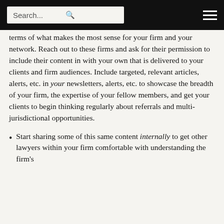Search... [search icon] [menu icon]
terms of what makes the most sense for your firm and your network. Reach out to these firms and ask for their permission to include their content in with your own that is delivered to your clients and firm audiences. Include targeted, relevant articles, alerts, etc. in your newsletters, alerts, etc. to showcase the breadth of your firm, the expertise of your fellow members, and get your clients to begin thinking regularly about referrals and multi-jurisdictional opportunities.
Start sharing some of this same content internally to get other lawyers within your firm comfortable with understanding the firm's